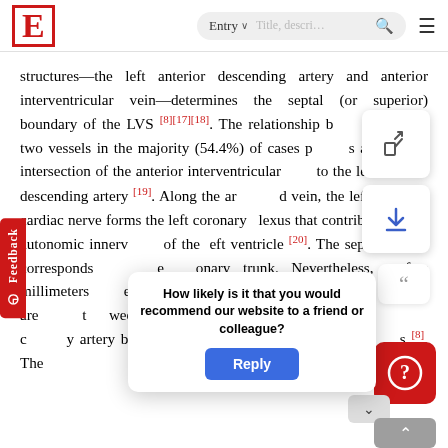E  Entry ∨  Title, descri…  🔍  ≡
structures—the left anterior descending artery and anterior interventricular vein—determines the septal (or superior) boundary of the LVS [8][17][18]. The relationship between those two vessels in the majority (54.4%) of cases presents a profound intersection of the anterior interventricular vein to the left anterior descending artery [19]. Along the artery and vein, the left coronary cardiac nerve forms the left coronary plexus that contributes to the autonomic innervation of the left ventricle [20]. The septal margin corresponds with the coronary trunk. Nevertheless, a few millimeters above the septal summit, or the septal aspect of LVS, are present between the pulmonary trunk boundary and the coronary artery bifurcation. The perforator denotes [8]. The
How likely is it that you would recommend our website to a friend or colleague?
Reply